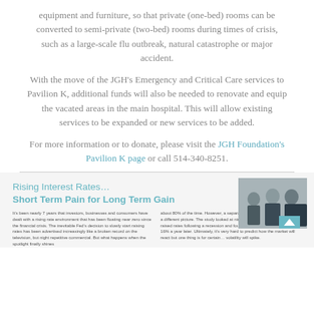equipment and furniture, so that private (one-bed) rooms can be converted to semi-private (two-bed) rooms during times of crisis, such as a large-scale flu outbreak, natural catastrophe or major accident.
With the move of the JGH's Emergency and Critical Care services to Pavilion K, additional funds will also be needed to renovate and equip the vacated areas in the main hospital. This will allow existing services to be expanded or new services to be added.
For more information or to donate, please visit the JGH Foundation's Pavilion K page or call 514-340-8251.
Rising Interest Rates… Short Term Pain for Long Term Gain
It's been nearly 7 years that investors, businesses and consumers have dealt with a rising rate environment that has been floating near zero since the financial crisis. The inevitable Fed's decision to slowly start raising rates has been advertised increasingly like a broken record on the television, but night repetitive commercial. But what happens when the spotlight finally shines
about 80% of the time. However, a separate study by T. Rowe Price paints a different picture. The study looked at nine instances that the Fed has raised rates following a recession and found an average market gain of 16% a year later. Ultimately, it's very hard to predict how the market will react but one thing is for certain… volatility will spike.
[Figure (photo): Three men in business suits posed for a professional photo, partially obscured]